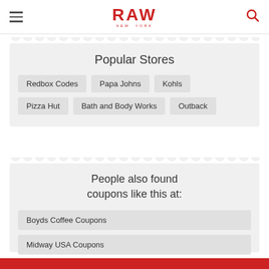RAW
Popular Stores
Redbox Codes
Papa Johns
Kohls
Pizza Hut
Bath and Body Works
Outback
People also found coupons like this at:
Boyds Coffee Coupons
Midway USA Coupons